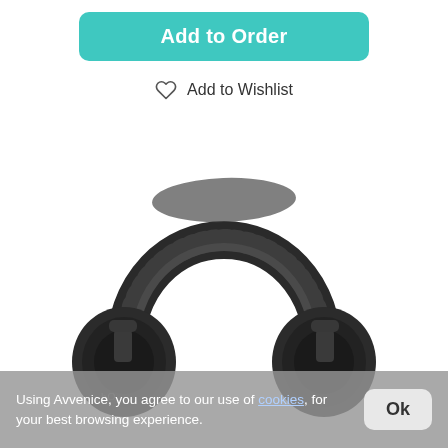Add to Order
Add to Wishlist
[Figure (photo): Black over-ear headphones (Bang & Olufsen style) with leather headband, photographed on white background]
Using Avvenice, you agree to our use of cookies, for your best browsing experience.
Ok